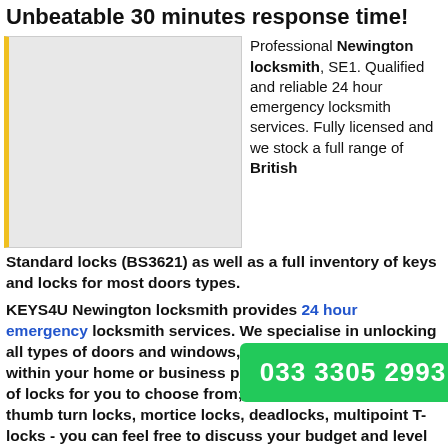Unbeatable 30 minutes response time!
[Figure (photo): Placeholder image of a locksmith or related service, with a gold/yellow left border on a light grey background]
Professional Newington locksmith, SE1. Qualified and reliable 24 hour emergency locksmith services. Fully licensed and we stock a full range of British Standard locks (BS3621) as well as a full inventory of keys and locks for most doors types.
KEYS4U Newington locksmith provides 24 hour emergency locksmith services. We specialise in unlocking all types of doors and windows, replacing keys and locks within your home or business premises. We offer a range of locks for you to choose from; regular night latches, thumb turn locks, mortice locks, deadlocks, multipoint T-locks - you can feel free to discuss your budget and level of security. Options are presented to you to choose from before the job has began. We also provide a comprehensive alternative for both
033 3305 2993